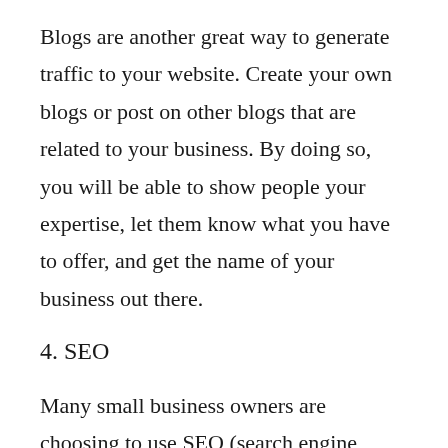Blogs are another great way to generate traffic to your website. Create your own blogs or post on other blogs that are related to your business. By doing so, you will be able to show people your expertise, let them know what you have to offer, and get the name of your business out there.
4. SEO
Many small business owners are choosing to use SEO (search engine optimization)